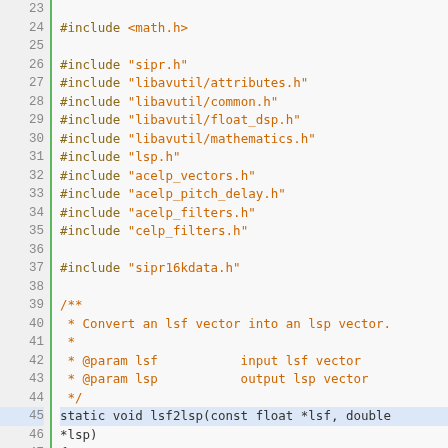[Figure (screenshot): Source code viewer showing C code lines 23-55, with line numbers on the left, a green vertical bar separator, and syntax-highlighted code on the right. Includes #include directives, a comment block, and two static function definitions (lsf2lsp and dequant).]